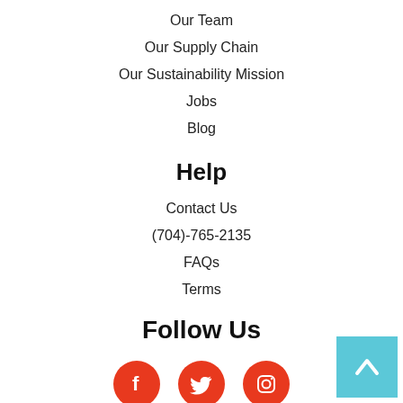Our Team
Our Supply Chain
Our Sustainability Mission
Jobs
Blog
Help
Contact Us
(704)-765-2135
FAQs
Terms
Follow Us
[Figure (illustration): Three orange circular social media icons: Facebook, Twitter, Instagram]
[Figure (illustration): Light blue back-to-top button with upward chevron arrow in bottom right corner]